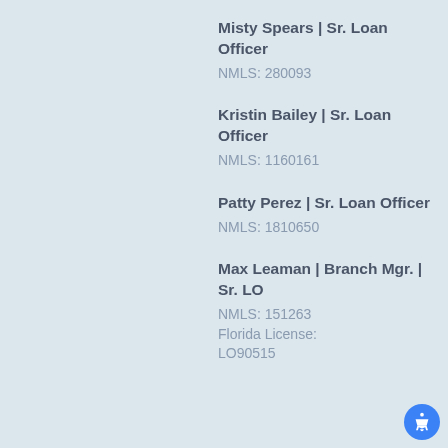Misty Spears | Sr. Loan Officer
NMLS: 280093
Kristin Bailey | Sr. Loan Officer
NMLS: 1160161
Patty Perez | Sr. Loan Officer
NMLS: 1810650
Max Leaman | Branch Mgr. | Sr. LO
NMLS: 151263
Florida License:
LO90515